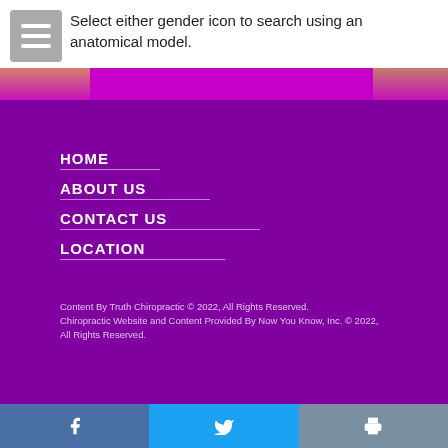Select either gender icon to search using an anatomical model.
[Figure (illustration): Image strip showing partial faces on left and right sides with purple background]
HOME
ABOUT US
CONTACT US
LOCATION
Content By Truth Chiropractic © 2022, All Rights Reserved. Chiropractic Website and Content Provided By Now You Know, Inc. © 2022, All Rights Reserved.
[Figure (infographic): Bottom bar with Facebook, Twitter, and print icons]